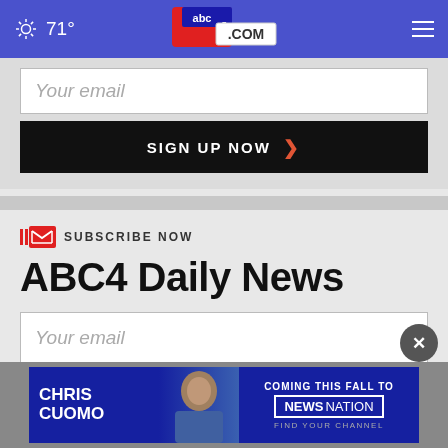71° abc4.com
Your email
SIGN UP NOW
SUBSCRIBE NOW
ABC4 Daily News
Your email
[Figure (screenshot): Chris Cuomo Coming This Fall to NewsNation advertisement banner]